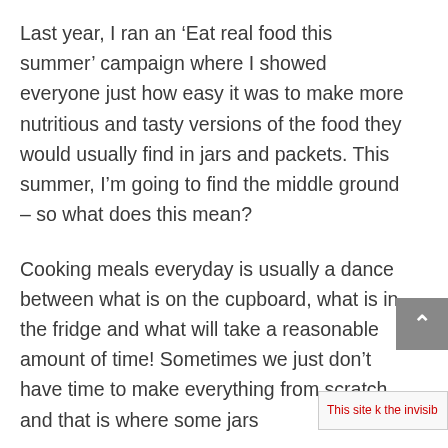Last year, I ran an ‘Eat real food this summer’ campaign where I showed everyone just how easy it was to make more nutritious and tasty versions of the food they would usually find in jars and packets. This summer, I’m going to find the middle ground – so what does this mean?
Cooking meals everyday is usually a dance between what is on the cupboard, what is in the fridge and what will take a reasonable amount of time! Sometimes we just don’t have time to make everything from scratch and that is where some jars